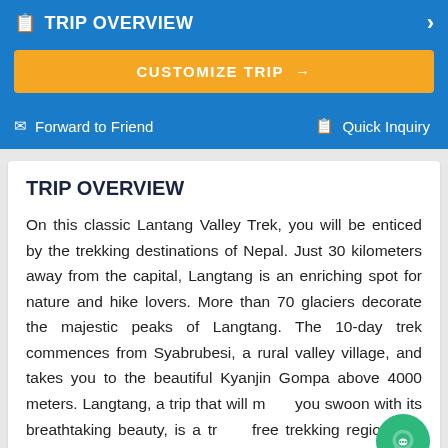TRIP OVERVIEW
CUSTOMIZE TRIP →
Forward to Friend   Quick Inquiry
TRIP OVERVIEW
On this classic Lantang Valley Trek, you will be enticed by the trekking destinations of Nepal. Just 30 kilometers away from the capital, Langtang is an enriching spot for nature and hike lovers. More than 70 glaciers decorate the majestic peaks of Langtang. The 10-day trek commences from Syabrubesi, a rural valley village, and takes you to the beautiful Kyanjin Gompa above 4000 meters. Langtang, a trip that will make you swoon with its breathtaking beauty, is a traffic free trekking region that places itself third in Nepal's